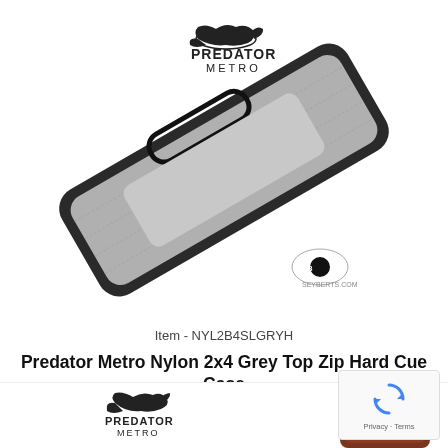[Figure (photo): Predator Metro logo at top left of product image area, above a grey nylon 2x4 hard cue case shown diagonally on white background, with Seyberts.com logo watermark at bottom right of the photo]
Item - NYL2B4SLGRYH
Predator Metro Nylon 2x4 Grey Top Zip Hard Cue Case
Ride the rails to your next win with our new Metro case...
$169.00
[Figure (photo): Partial bottom of page showing another Predator product with logo and a brown/red cue case partially visible]
[Figure (other): Google reCAPTCHA widget overlay in bottom right corner showing recycling arrows icon with Privacy - Terms text]